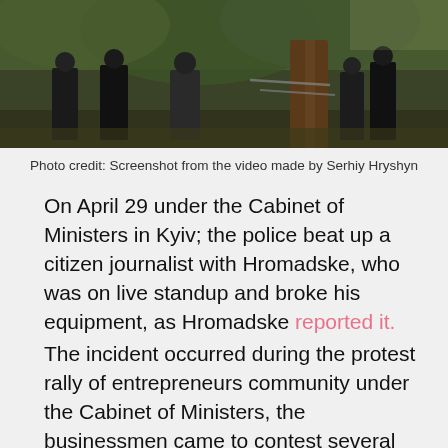[Figure (photo): Outdoor scene with several people standing in a park near a large tree trunk with green foliage in background]
Photo credit: Screenshot from the video made by Serhiy Hryshyn
On April 29 under the Cabinet of Ministers in Kyiv; the police beat up a citizen journalist with Hromadske, who was on live standup and broke his equipment, as Hromadske reported it.
The incident occurred during the protest rally of entrepreneurs community under the Cabinet of Ministers, the businessmen came to contest several restrictions measures imposed under lockdown.
The journalist Bohdan Kutepov together with his colleague Mykyta Mekenzin stood on the hill in the park in front of the Cabinet of Ministers and covered the protest rally. Reporters were approached by several TOR